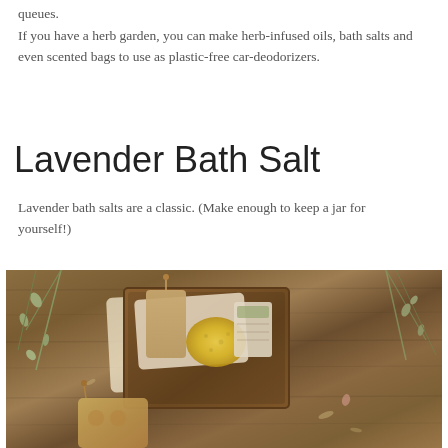queues.
If you have a herb garden, you can make herb-infused oils, bath salts and even scented bags to use as plastic-free car-deodorizers.
Lavender Bath Salt
Lavender bath salts are a classic. (Make enough to keep a jar for yourself!)
[Figure (photo): Overhead view of a wooden box containing bath products including a yellow sponge, cloth bags, and natural accessories on a rustic wooden surface with green plant sprigs scattered around.]